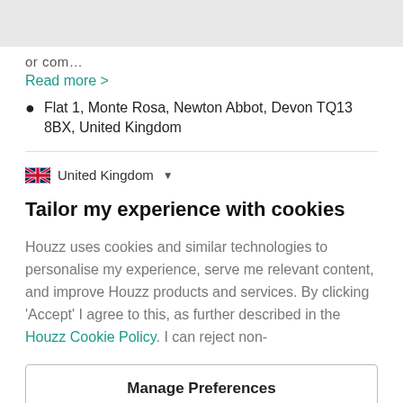or com...
Read more >
Flat 1, Monte Rosa, Newton Abbot, Devon TQ13 8BX, United Kingdom
United Kingdom
Tailor my experience with cookies
Houzz uses cookies and similar technologies to personalise my experience, serve me relevant content, and improve Houzz products and services. By clicking ‘Accept’ I agree to this, as further described in the Houzz Cookie Policy. I can reject non-
Manage Preferences
Accept